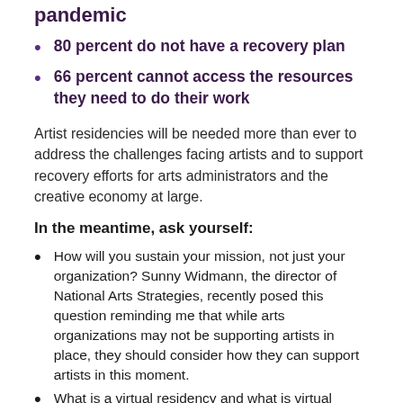pandemic
80 percent do not have a recovery plan
66 percent cannot access the resources they need to do their work
Artist residencies will be needed more than ever to address the challenges facing artists and to support recovery efforts for arts administrators and the creative economy at large.
In the meantime, ask yourself:
How will you sustain your mission, not just your organization? Sunny Widmann, the director of National Arts Strategies, recently posed this question reminding me that while arts organizations may not be supporting artists in place, they should consider how they can support artists in this moment.
What is a virtual residency and what is virtual audience engagement? A virtual residency is not a new concept